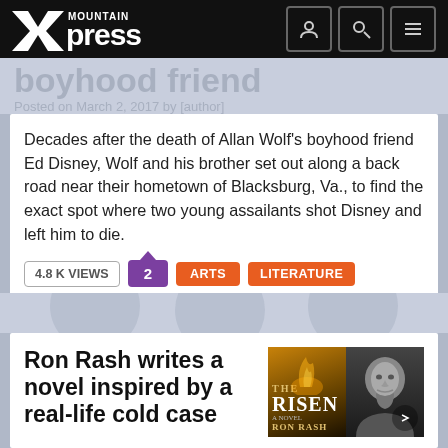Mountain Xpress
boyhood friend
Posted on March 2, 2017 by [author]
Decades after the death of Allan Wolf's boyhood friend Ed Disney, Wolf and his brother set out along a back road near their hometown of Blacksburg, Va., to find the exact spot where two young assailants shot Disney and left him to die.
4.8 K VIEWS
2 (comments)
ARTS
LITERATURE
Ron Rash writes a novel inspired by a real-life cold case
[Figure (photo): Book cover of 'The Risen' by Ron Rash and author photo of Ron Rash]
Posted on September 15, 2016 by Alli Marshall